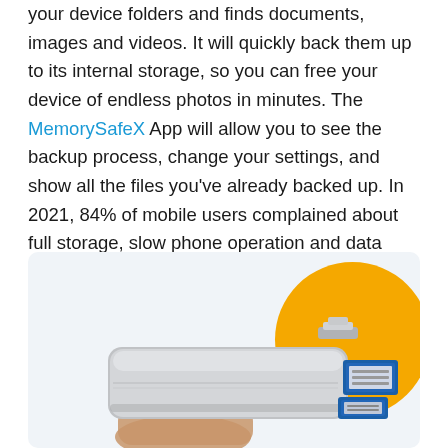your device folders and finds documents, images and videos. It will quickly back them up to its internal storage, so you can free your device of endless photos in minutes. The MemorySafeX App will allow you to see the backup process, change your settings, and show all the files you've already backed up. In 2021, 84% of mobile users complained about full storage, slow phone operation and data failures. Our MemorySafeX review will help you understand why it happens and how you can fix it with this incredible little device.
[Figure (photo): A USB flash drive with multiple connectors (Lightning, USB-A, micro-USB) held between fingers, shown against a light blue background with a large yellow circle decoration in the upper right.]